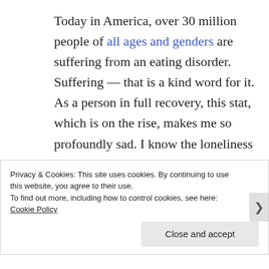Today in America, over 30 million people of all ages and genders are suffering from an eating disorder. Suffering — that is a kind word for it. As a person in full recovery, this stat, which is on the rise, makes me so profoundly sad. I know the loneliness and sorrow that fills their people-pleasing, loving
Privacy & Cookies: This site uses cookies. By continuing to use this website, you agree to their use.
To find out more, including how to control cookies, see here: Cookie Policy